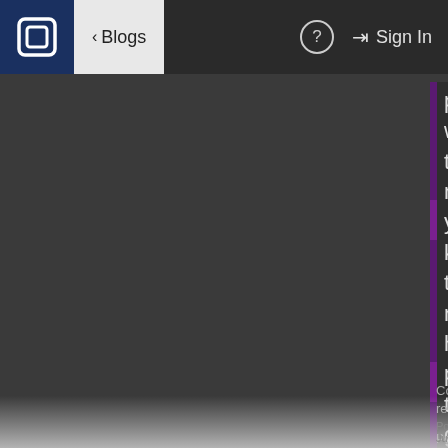Blogs | Sign In
practically wrote the music, you know the notes he plays the guitar and his friend...
Continue reading...
Posted in Uncategorized  Views 10775
★★★★★ No longer dealing with rep
Posted July